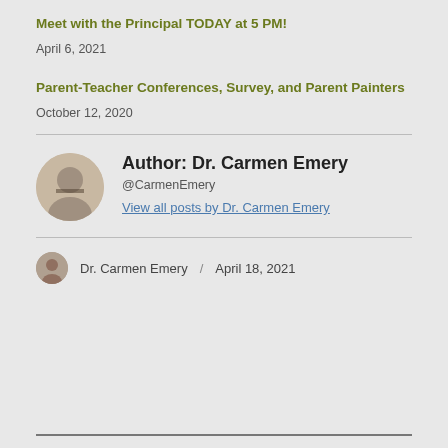Meet with the Principal TODAY at 5 PM!
April 6, 2021
Parent-Teacher Conferences, Survey, and Parent Painters
October 12, 2020
Author: Dr. Carmen Emery
@CarmenEmery
View all posts by Dr. Carmen Emery
Dr. Carmen Emery / April 18, 2021